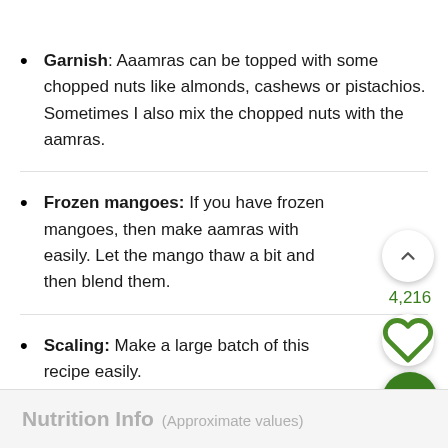Garnish: Aaamras can be topped with some chopped nuts like almonds, cashews or pistachios. Sometimes I also mix the chopped nuts with the aamras.
Frozen mangoes: If you have frozen mangoes, then make aamras with easily. Let the mango thaw a bit and then blend them.
Scaling: Make a large batch of this recipe easily.
Nutrition Info (Approximate values)